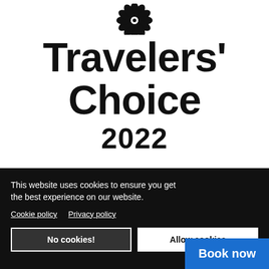[Figure (logo): TripAdvisor Travelers' Choice 2022 logo with decorative flower/owl emblem at top, bold black text 'Travelers' Choice' and '2022']
This website uses cookies to ensure you get the best experience on our website. Cookie policy  Privacy policy
No cookies!
Allow cookies
Book now